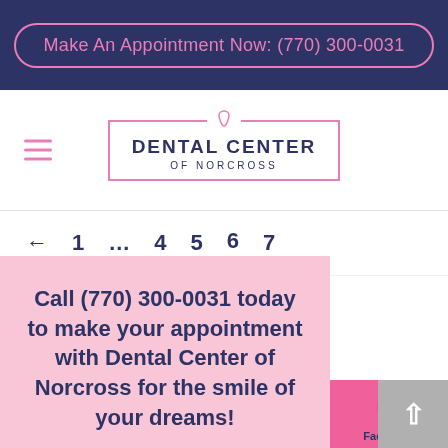Make An Appointment Now: (770) 300-0031
[Figure (logo): Dental Center of Norcross logo with tooth icon and pink border box]
← 1 … 4 5 6 7
Facebook
Google Reviews
Forms
Call (770) 300-0031 today to make your appointment with Dental Center of Norcross for the smile of your dreams!